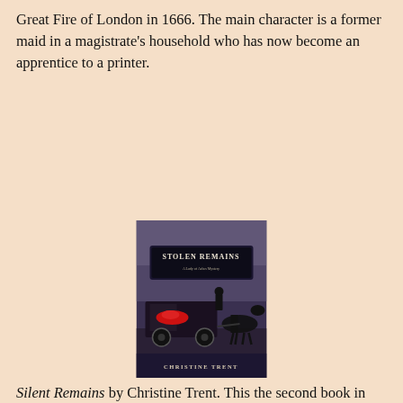Great Fire of London in 1666. The main character is a former maid in a magistrate's household who has now become an apprentice to a printer.
[Figure (photo): Book cover of 'Stolen Remains: A Lady of Ashes Mystery' by Christine Trent, showing a dark Victorian scene with a horse-drawn hearse and a figure in black, with red flowers visible inside the hearse.]
Silent Remains by Christine Trent. This the second book in